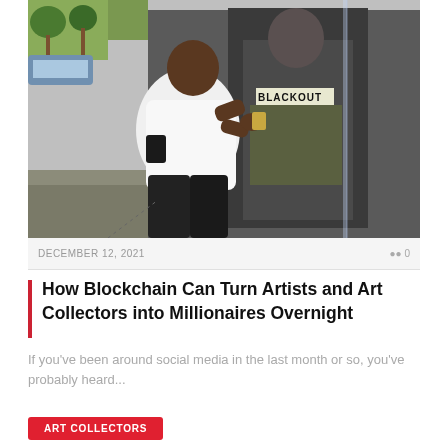[Figure (photo): A man in a white t-shirt applying or installing a large street art poster on an outdoor wall. The poster shows a figure wearing a shirt that says 'BLACKOUT'. The scene is on a sidewalk with trees and parked cars visible in the background.]
DECEMBER 12, 2021   0
How Blockchain Can Turn Artists and Art Collectors into Millionaires Overnight
If you've been around social media in the last month or so, you've probably heard...
ART COLLECTORS